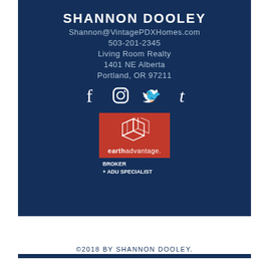SHANNON DOOLEY
Shannon@VintagePDXHomes.com
503-201-2345
Living Room Realty
1401 NE Alberta
Portland, OR 97211
[Figure (infographic): Social media icons: Facebook, Instagram, Twitter, Tumblr]
[Figure (logo): Earth Advantage badge with cube logo, text 'earthadvantage.' and 'BROKER + ADU SPECIALIST']
©2018 BY SHANNON DOOLEY.